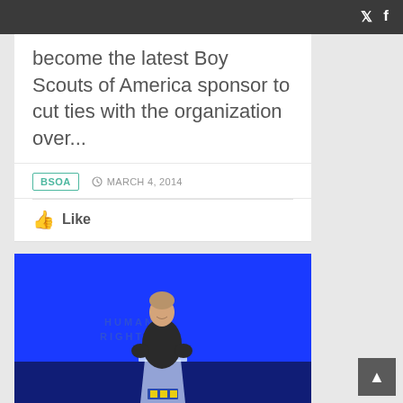become the latest Boy Scouts of America sponsor to cut ties with the organization over...
BSOA   MARCH 4, 2014
Like
[Figure (photo): Person speaking at a podium on a stage with a bright blue background and 'Human Rights' text visible. The speaker is a young man in a dark shirt smiling.]